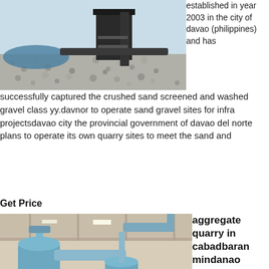[Figure (photo): Industrial machine on gravel/crushed stone surface outdoors]
established in year 2003 in the city of davao (philippines) and has successfully captured the crushed sand screened and washed gravel class yy.davnor to operate sand gravel sites for infra projectsdavao city the provincial government of davao del norte plans to operate its own quarry sites to meet the sand and
Get Price
[Figure (photo): Industrial milling/grinding equipment — large blue machines with pipes and cyclones inside a warehouse]
aggregate quarry in cabadbaran mindanao
aggregate quarry in cabadbaran mindanao. aggregate quarry in cabadbaran mindanao pictures of a rock quarry